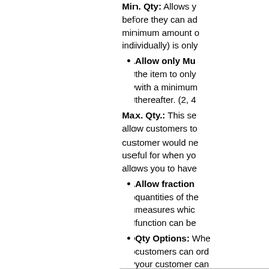Min. Qty: Allows you before they can add minimum amount (individually) is only
Allow only Mu... the item to only with a minimum thereafter. (2, 4
Max. Qty.: This se allow customers to customer would ne useful for when yo allows you to have
Allow fraction quantities of the measures whic function can be
Qty Options: Whe customers can ord your customer can menu with the orde commas and no sp